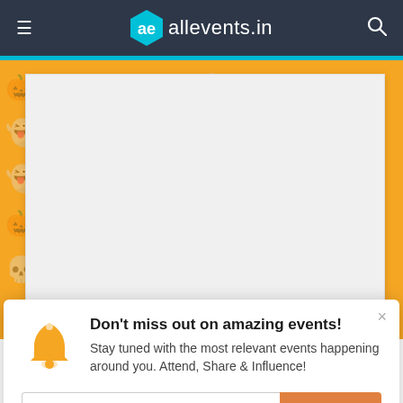allevents.in
[Figure (screenshot): Orange Halloween-themed banner background with a white/light grey content card placeholder]
Don't miss out on amazing events! Stay tuned with the most relevant events happening around you. Attend, Share & Influence!
Enter your email here  Subscribe